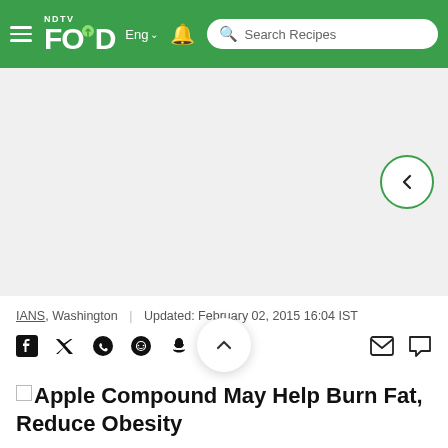NDTV FOOD Eng | Search Recipes
[Figure (other): Advertisement / blank gray area with a back navigation button (circular, green-outlined arrow pointing left) on the right side]
IANS, Washington | Updated: February 02, 2015 16:04 IST
[Figure (other): Social share icons row: Facebook, Twitter, WhatsApp, Reddit, Snapchat, ShareChat; and on the right: email and comment icons. A scroll-up chevron button overlays the row.]
Apple Compound May Help Burn Fat, Reduce Obesity